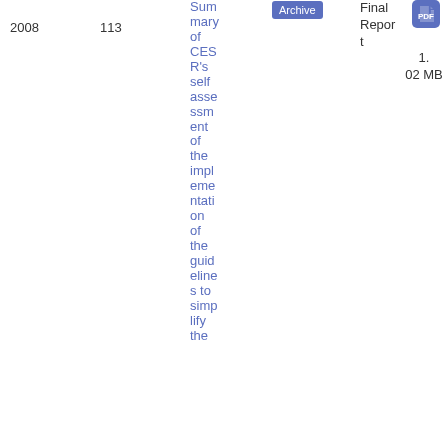| Year | Number | Title | Archive | Type | Icon | Size |
| --- | --- | --- | --- | --- | --- | --- |
| 2008 | 113 | Summary of CESR's self assessment of the implementation of the guidelines to simplify the... | Archive | Final Report | F | 1.02 MB |